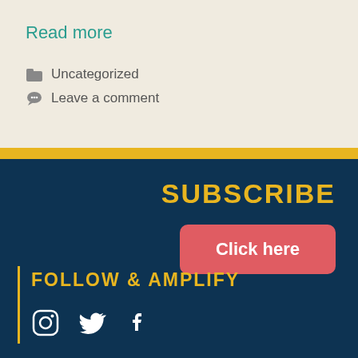Read more
Uncategorized
Leave a comment
SUBSCRIBE
Click here
FOLLOW & AMPLIFY
[Figure (infographic): Social media icons: Instagram, Twitter, Facebook]